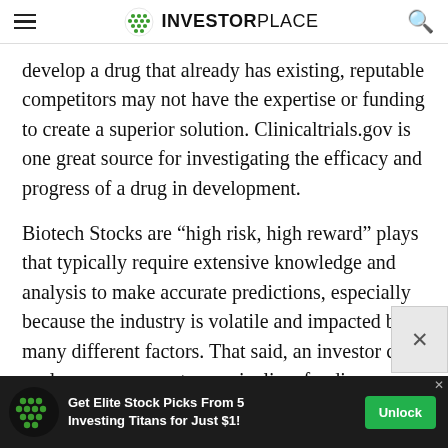INVESTORPLACE
develop a drug that already has existing, reputable competitors may not have the expertise or funding to create a superior solution. Clinicaltrials.gov is one great source for investigating the efficacy and progress of a drug in development.
Biotech Stocks are “high risk, high reward” plays that typically require extensive knowledge and analysis to make accurate predictions, especially because the industry is volatile and impacted by many different factors. That said, an investor can analyze a company team, pipeline, funding, patents and partnerships to
[Figure (logo): Advertisement banner: Get Elite Stock Picks From 5 Investing Titans for Just $1! Unlock button with InvestorPlace logo]